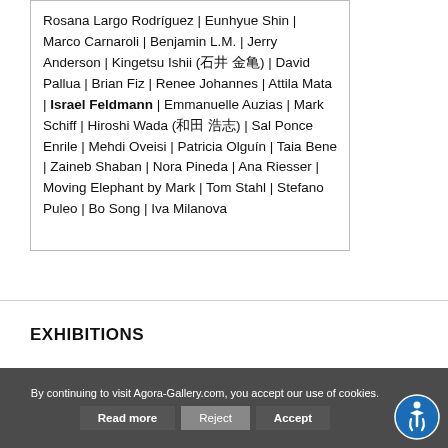Rosana Largo Rodríguez | Eunhyue Shin | Marco Carnaroli | Benjamin L.M. | Jerry Anderson | Kingetsu Ishii (石井 金亀) | David Pallua | Brian Fiz | Renee Johannes | Attila Mata | Israel Feldmann | Emmanuelle Auzias | Mark Schiff | Hiroshi Wada (和田 浩志) | Sal Ponce Enrile | Mehdi Oveisi | Patricia Olguín | Taia Bene | Zaineb Shaban | Nora Pineda | Ana Riesser | Moving Elephant by Mark | Tom Stahl | Stefano Puleo | Bo Song | Iva Milanova
EXHIBITIONS
By continuing to visit Agora-Gallery.com, you accept our use of cookies.